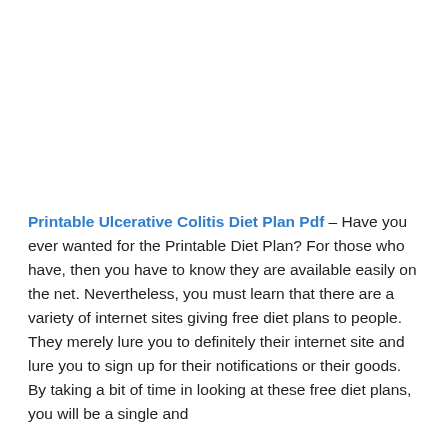Printable Ulcerative Colitis Diet Plan Pdf – Have you ever wanted for the Printable Diet Plan? For those who have, then you have to know they are available easily on the net. Nevertheless, you must learn that there are a variety of internet sites giving free diet plans to people. They merely lure you to definitely their internet site and lure you to sign up for their notifications or their goods. By taking a bit of time in looking at these free diet plans, you will be a single and